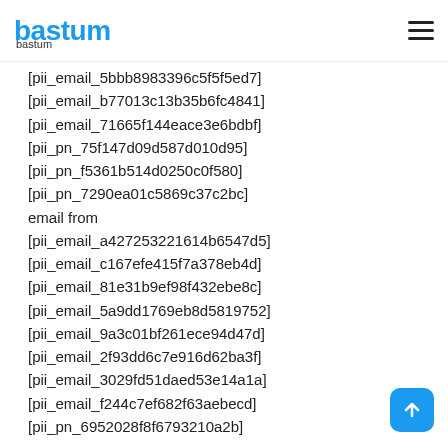bastum
bastum
[pii_email_5bbb8983396c5f5f5ed7]
[pii_email_b77013c13b35b6fc4841]
[pii_email_71665f144eace3e6bdbf]
[pii_pn_75f147d09d587d010d95]
[pii_pn_f5361b514d0250c0f580]
[pii_pn_7290ea01c5869c37c2bc]
email from
[pii_email_a427253221614b6547d5]
[pii_email_c167efe415f7a378eb4d]
[pii_email_81e31b9ef98f432ebe8c]
[pii_email_5a9dd1769eb8d5819752]
[pii_email_9a3c01bf261ece94d47d]
[pii_email_2f93dd6c7e916d62ba3f]
[pii_email_3029fd51daed53e14a1a]
[pii_email_f244c7ef682f63aebecd]
[pii_pn_6952028f8f6793210a2b]